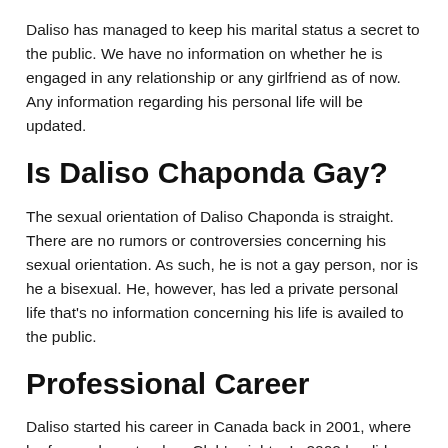Daliso has managed to keep his marital status a secret to the public. We have no information on whether he is engaged in any relationship or any girlfriend as of now. Any information regarding his personal life will be updated.
Is Daliso Chaponda Gay?
The sexual orientation of Daliso Chaponda is straight. There are no rumors or controversies concerning his sexual orientation. As such, he is not a gay person, nor is he a bisexual. He, however, has led a private personal life that's no information concerning his life is availed to the public.
Professional Career
Daliso started his career in Canada back in 2001, where he focused on stand-up Club's nights. In 2002 he did a show that made him